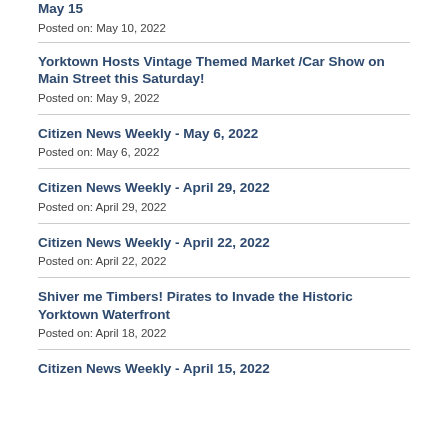May 15
Posted on: May 10, 2022
Yorktown Hosts Vintage Themed Market /Car Show on Main Street this Saturday!
Posted on: May 9, 2022
Citizen News Weekly - May 6, 2022
Posted on: May 6, 2022
Citizen News Weekly - April 29, 2022
Posted on: April 29, 2022
Citizen News Weekly - April 22, 2022
Posted on: April 22, 2022
Shiver me Timbers! Pirates to Invade the Historic Yorktown Waterfront
Posted on: April 18, 2022
Citizen News Weekly - April 15, 2022